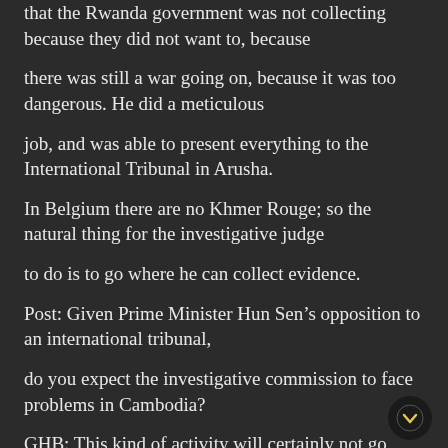that the Rwanda government was not collecting because they did not want to, because
there was still a war going on, because it was too dangerous. He did a meticulous
job, and was able to present everything to the International Tribunal in Arusha.
In Belgium there are no Khmer Rouge; so the natural thing for the investigative judge
to do is to go where he can collect evidence.
Post: Given Prime Minister Hun Sen’s opposition to an international tribunal,
do you expect the investigative commission to face problems in Cambodia?
GHB: This kind of activity will certainly not go unnoticed. The Cambodian
government has to prepare for it and provide the Belgian investigative judge with
transport, police assistance and an interpreter. Such a